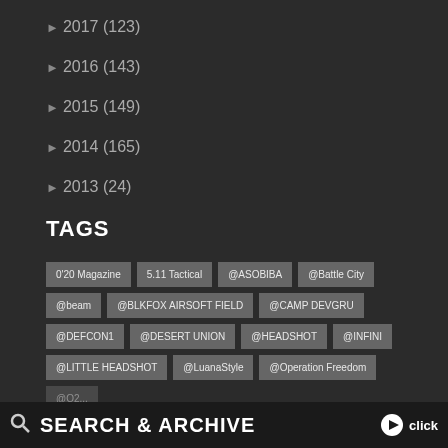► 2017 (123)
► 2016 (143)
► 2015 (149)
► 2014 (165)
► 2013 (24)
TAGS
0'20 Magazine | 5.11 Tactical | @ASOBIBA | @Battle City | @beam | @BLKFOX AIRSOFT FIELD | @CAMP DEVGRU | @DEFCON1 | @DESERT UNION | @HEADSHOT | @INFINI | @LITTLE HEADSHOT | @LuanaStyle | @Operation Freedom
SEARCH & ARCHIVE click